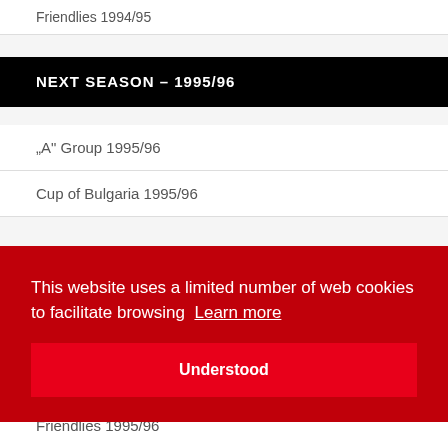Friendlies 1994/95
NEXT SEASON – 1995/96
"A" Group 1995/96
Cup of Bulgaria 1995/96
This website uses a limited number of web cookies to facilitate browsing  Learn more
Friendlies 1995/96